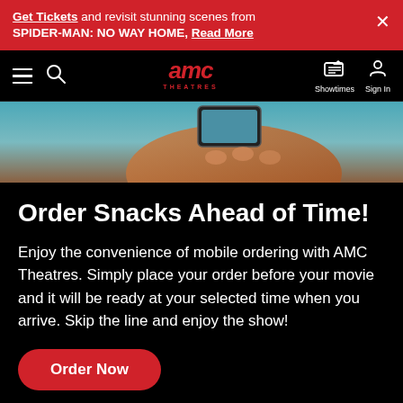Get Tickets and revisit stunning scenes from SPIDER-MAN: NO WAY HOME, Read More
[Figure (screenshot): AMC Theatres navigation bar with hamburger menu, search icon, AMC Theatres logo in red, Showtimes icon, and Sign In icon]
[Figure (photo): Close-up photo of a hand holding a mobile phone, with teal and warm-toned background]
Order Snacks Ahead of Time!
Enjoy the convenience of mobile ordering with AMC Theatres. Simply place your order before your movie and it will be ready at your selected time when you arrive. Skip the line and enjoy the show!
Order Now